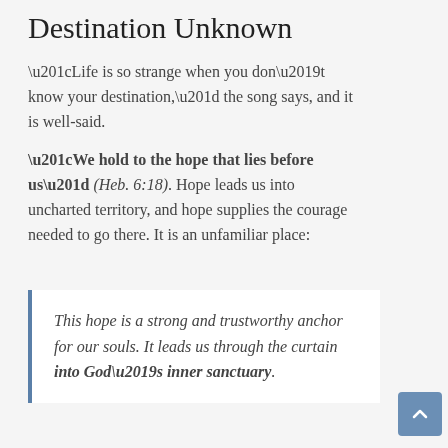Destination Unknown
“Life is so strange when you don’t know your destination,” the song says, and it is well-said.
“We hold to the hope that lies before us” (Heb. 6:18). Hope leads us into uncharted territory, and hope supplies the courage needed to go there. It is an unfamiliar place:
This hope is a strong and trustworthy anchor for our souls. It leads us through the curtain into God’s inner sanctuary.